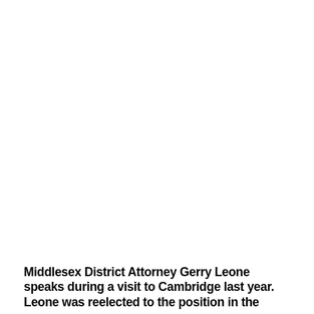[Figure (photo): A photograph occupying the upper portion of the page (mostly white/blank in this cropped view), depicting Middlesex District Attorney Gerry Leone speaking during a visit to Cambridge.]
Middlesex District Attorney Gerry Leone speaks during a visit to Cambridge last year. Leone was reelected to the position in the